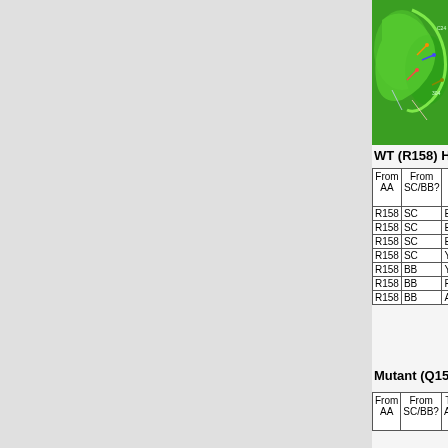[Figure (photo): 3D protein structure visualization showing green ribbon/cartoon representation of protein with colored stick residues]
WT (R158) H-Bonds
| From AA | From SC/BB? | To AA | To SC/BB? | From Atom | From Atom Index | To Atom |
| --- | --- | --- | --- | --- | --- | --- |
| R158 | SC | E280 | SC | N | 344 | O |
| R158 | SC | E280 | SC | N | 343 | O |
| R158 | SC | E141 | SC | N | 344 | O |
| R158 | SC | Y154 | SC | N | 343 | O |
| R158 | BB | Y154 | BB | N | 334 | O |
| R158 | BB | F161 | BB | O | 337 | N |
| R158 | BB | A162 | BB | O | 337 | N |
Mutant (Q158) H-Bonds
| From AA | From SC/BB? | To AA | To SC/BB? | From Atom | From Atom Index | To Atom |
| --- | --- | --- | --- | --- | --- | --- |